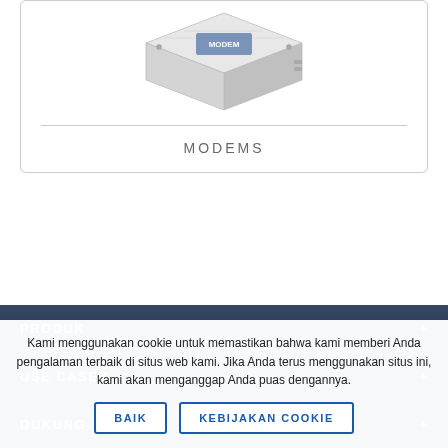[Figure (photo): Product photo of a modem device shown from an isometric angle, silver/grey metallic enclosure]
MODEMS
PRODUK
USE CASES
DUKUNG
Kami menggunakan cookie untuk memastikan bahwa kami memberi Anda pengalaman terbaik di situs web kami. Jika Anda terus menggunakan situs ini, kami akan menganggap Anda puas dengannya.
BAIK
KEBIJAKAN COOKIE